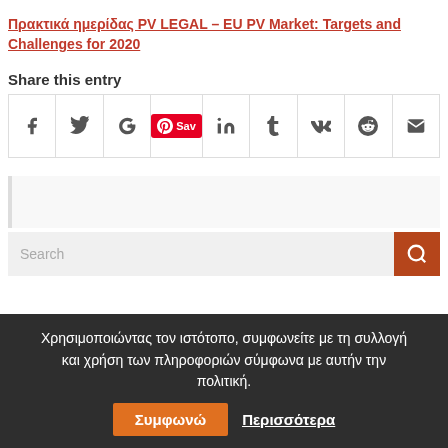Πρακτικά ημερίδας PV LEGAL – EU PV Market: Targets and Challenges for 2020
Share this entry
[Figure (other): Social sharing buttons row: Facebook, Twitter, Google+, Pinterest Save, LinkedIn, Tumblr, VK, Reddit, Email]
[Figure (other): Sidebar or widget placeholder box]
[Figure (other): Search input field with orange search button]
Χρησιμοποιώντας τον ιστότοπο, συμφωνείτε με τη συλλογή και χρήση των πληροφοριών σύμφωνα με αυτήν την πολιτική.
Συμφωνώ   Περισσότερα